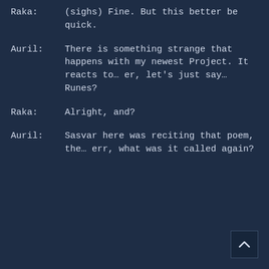Raka: (sighs) Fine. But this better be quick.
Auril: There is something strange that happens with my newest Project. It reacts to… er, let's just say… Runes?
Raka: Alright, and?
Auril: Sasvar here was reciting that poem, the… err, what was it called again?